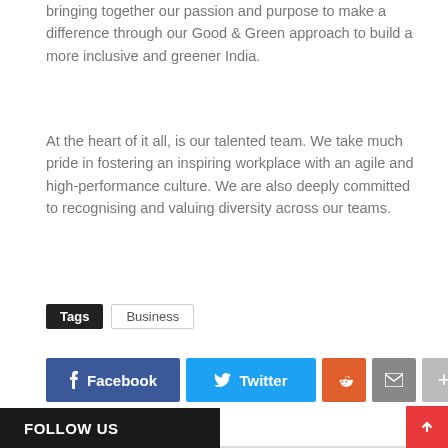bringing together our passion and purpose to make a difference through our Good & Green approach to build a more inclusive and greener India.
At the heart of it all, is our talented team. We take much pride in fostering an inspiring workplace with an agile and high-performance culture. We are also deeply committed to recognising and valuing diversity across our teams.
Tags  Business
Facebook  Twitter  Reddit  Email  More